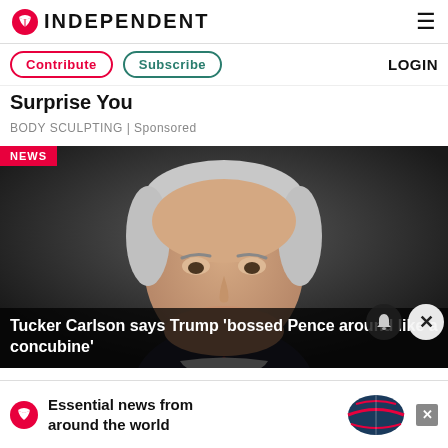INDEPENDENT
Contribute  Subscribe  LOGIN
Surprise You
BODY SCULPTING | Sponsored
[Figure (photo): Close-up portrait of Mike Pence against dark background, with NEWS badge top-left and headline overlay at bottom reading: Tucker Carlson says Trump 'bossed Pence around like a concubine']
Essential news from around the world